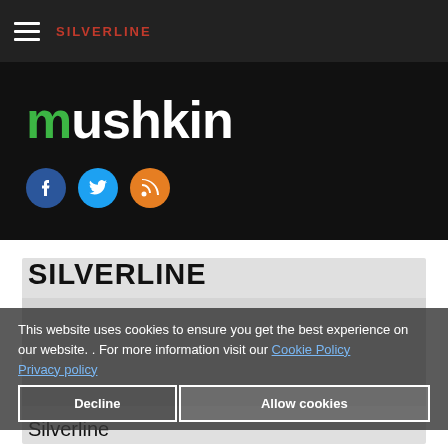SILVERLINE
[Figure (logo): Mushkin logo in white bold text with green 'm' letter on black background]
[Figure (illustration): Three social media icons: Facebook (blue circle), Twitter (light blue circle), RSS (orange circle)]
SILVERLINE
[Figure (photo): Mushkin Silverline DDR RAM memory module with silver heatspreader and green PCB]
This website uses cookies to ensure you get the best experience on our website. . For more information visit our Cookie Policy Privacy policy
Decline | Allow cookies
Silverline